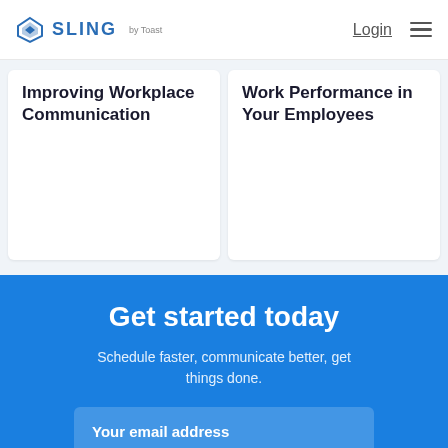SLING by Toast — Login
Improving Workplace Communication
Work Performance in Your Employees
Get started today
Schedule faster, communicate better, get things done.
Your email address
Get started